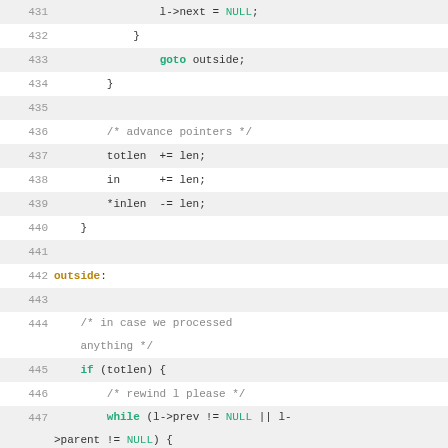[Figure (screenshot): Source code listing (C language) showing lines 431-456, with line numbers on the left and syntax-highlighted code on the right. Keywords like 'goto', 'while', 'if', 'else', 'NULL' are highlighted in green. The label 'outside' is highlighted in gold/yellow. Comments are in gray. Alternate lines have a light gray background.]